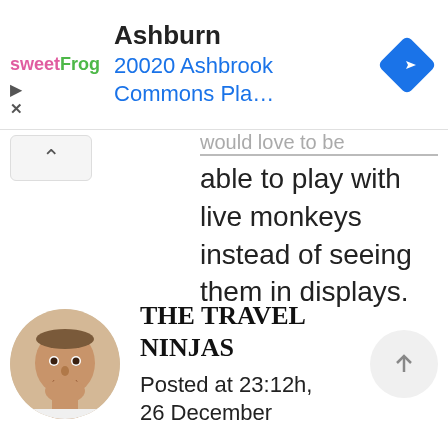[Figure (screenshot): sweetFrog ad banner with logo, 'Ashburn' heading, '20020 Ashbrook Commons Pla...' address in blue, and a blue navigation diamond icon on the right]
would love to be able to play with live monkeys instead of seeing them in displays.
[Figure (photo): Circular avatar photo of a smiling bald man]
THE TRAVEL NINJAS
Posted at 23:12h, 26 December